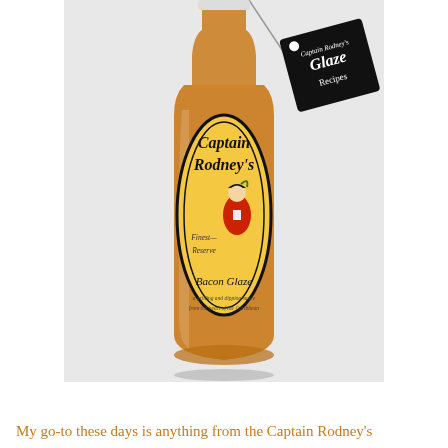[Figure (photo): A bottle of Captain Rodney's Bacon Glaze sauce with an orange/amber colored liquid inside. The bottle has a yellow/orange label with black script text reading 'Captain Rodney's' and features an illustration of a colonial-era figure in a red coat. There is a black hang tag reading 'Captain Rodney's Glaze Recipes' attached to the bottle neck.]
My go-to these days is anything from the Captain Rodney's